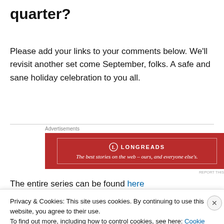quarter?
Please add your links to your comments below. We'll revisit another set come September, folks. A safe and sane holiday celebration to you all.
[Figure (infographic): Longreads advertisement banner with red background. Logo with circle icon, LONGREADS text, and tagline: The best stories on the web – ours, and everyone else's.]
The entire series can be found here
Privacy & Cookies: This site uses cookies. By continuing to use this website, you agree to their use.
To find out more, including how to control cookies, see here: Cookie Policy